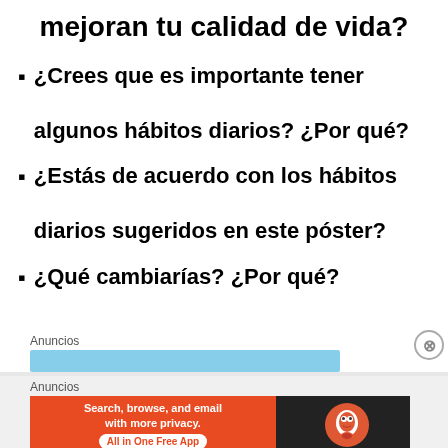mejoran tu calidad de vida?
¿Crees que es importante tener algunos hábitos diarios? ¿Por qué?
¿Estás de acuerdo con los hábitos diarios sugeridos en este póster?
¿Qué cambiarías? ¿Por qué?
[Figure (screenshot): Advertisement section with 'Anuncios' label, a blue bar ad, and a DuckDuckGo banner ad with orange left panel reading 'Search, browse, and email with more privacy. All in One Free App' and dark right panel with DuckDuckGo logo.]